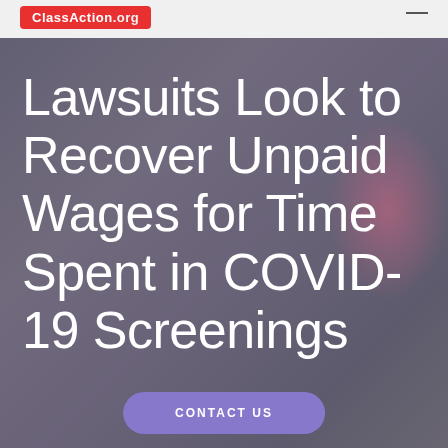ClassAction.org
Lawsuits Look to Recover Unpaid Wages for Time Spent in COVID-19 Screenings
CONTACT US